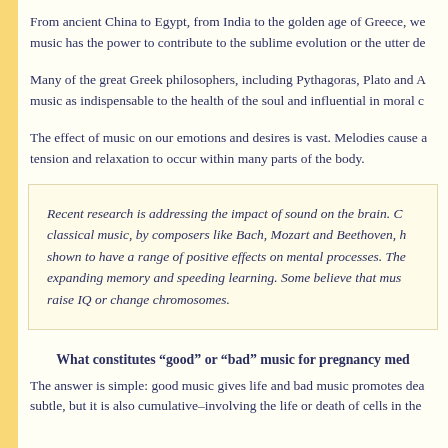From ancient China to Egypt, from India to the golden age of Greece, we music has the power to contribute to the sublime evolution or the utter de
Many of the great Greek philosophers, including Pythagoras, Plato and A music as indispensable to the health of the soul and influential in moral c
The effect of music on our emotions and desires is vast. Melodies cause a tension and relaxation to occur within many parts of the body.
Recent research is addressing the impact of sound on the brain. C classical music, by composers like Bach, Mozart and Beethoven, h shown to have a range of positive effects on mental processes. The expanding memory and speeding learning. Some believe that mus raise IQ or change chromosomes.
What constitutes “good” or “bad” music for pregnancy med
The answer is simple: good music gives life and bad music promotes dea subtle, but it is also cumulative–involving the life or death of cells in the